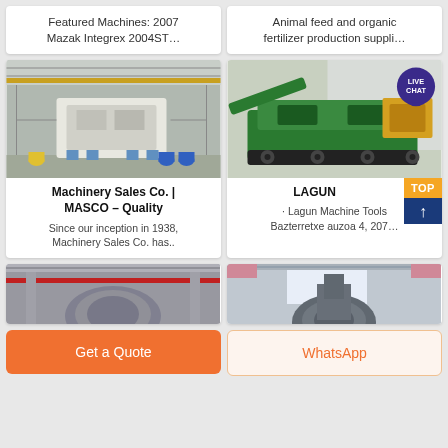Featured Machines: 2007 Mazak Integrex 2004ST…
Animal feed and organic fertilizer production suppli…
[Figure (photo): Industrial machinery/crusher inside a large factory hall]
Machinery Sales Co. | MASCO – Quality
Since our inception in 1938, Machinery Sales Co. has..
[Figure (photo): Green mobile crushing/screening machine outdoors with LIVE CHAT bubble overlay]
LAGUN
· Lagun Machine Tools Bazterretxe auzoa 4, 207…
[Figure (photo): Industrial machinery component inside factory, partial view]
[Figure (photo): Industrial machinery component inside factory, partial view]
Get a Quote
WhatsApp